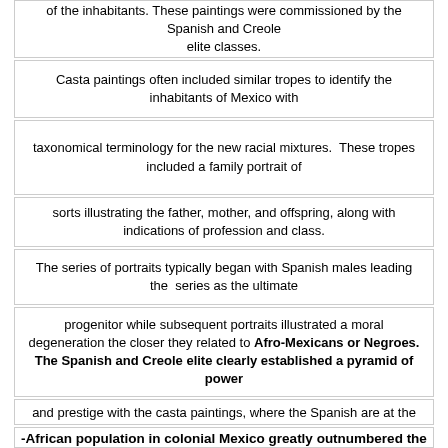of the inhabitants. These paintings were commissioned by the Spanish and Creole elite classes.
Casta paintings often included similar tropes to identify the inhabitants of Mexico with
taxonomical terminology for the new racial mixtures. These tropes included a family portrait of
sorts illustrating the father, mother, and offspring, along with indications of profession and class.
The series of portraits typically began with Spanish males leading the series as the ultimate
progenitor while subsequent portraits illustrated a moral degeneration the closer they related to Afro-Mexicans or Negroes. The Spanish and Creole elite clearly established a pyramid of power
and prestige with the casta paintings, where the Spanish are at the
-African population in colonial Mexico greatly outnumbered the Spanish population. It is estimated that approximately 250,000